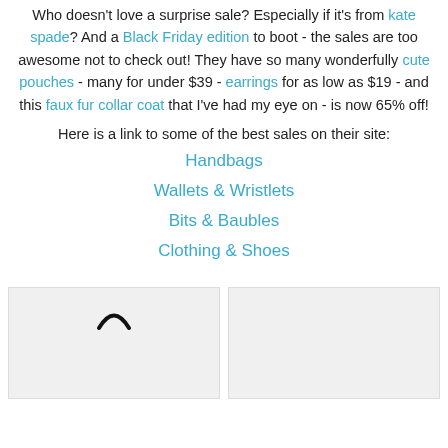Who doesn't love a surprise sale?  Especially if it's from kate spade?  And a Black Friday edition to boot - the sales are too awesome not to check out!  They have so many wonderfully cute pouches - many for under $39 - earrings for as low as $19 - and this faux fur collar coat that I've had my eye on  - is now 65% off!
Here is a link to some of the best sales on their site:
Handbags
Wallets & Wristlets
Bits & Baubles
Clothing & Shoes
[Figure (photo): Image of a handbag (partial, showing top handle arc in black on light background)]
[Figure (photo): Image placeholder, light gray background, no visible content]